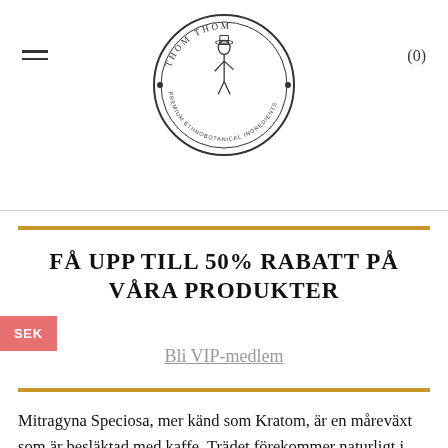[Figure (logo): Thom Thom circular logo with a figure in the center and text reading THOM THOM PREMIUM ETHNOBOTANICAL INGREDIENTS around the border]
(0)
FÅ UPP TILL 50% RABATT PÅ VÅRA PRODUKTER
Bli VIP-medlem
Mitragyna Speciosa, mer känd som Kratom, är en måreväxt som är besläktad med kaffe. Trädet förekommer naturligt i Thailand och Indonesien, där